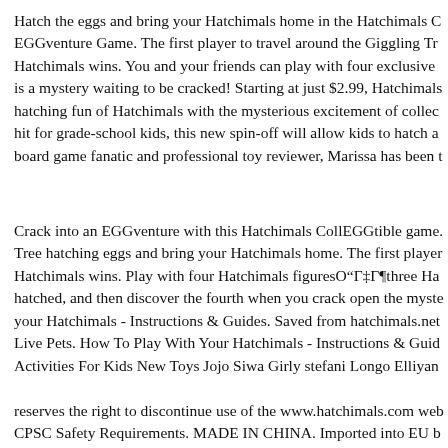Hatch the eggs and bring your Hatchimals home in the Hatchimals CollEGGtible EGGventure Game. The first player to travel around the Giggling Tree to hatch their Hatchimals wins. You and your friends can play with four exclusive Hatchimals. Each egg is a mystery waiting to be cracked! Starting at just $2.99, Hatchimals CollEGtibles combine the hatching fun of Hatchimals with the mysterious excitement of collecting. Already a major hit for grade-school kids, this new spin-off will allow kids to hatch a... A self-proclaimed board game fanatic and professional toy reviewer, Marissa has been t
Crack into an EGGventure with this Hatchimals CollEGGtible game. Travel around the Giggling Tree hatching eggs and bring your Hatchimals home. The first player to collect five Hatchimals wins. Play with four Hatchimals figuresO"Γ‡Γ¶three Hatchimals figures are already hatched, and then discover the fourth when you crack open the mystery egg! How to care for your Hatchimals - Instructions & Guides. Saved from hatchimals.net. Hatchimals, Alive, FurReal, Live Pets. How To Play With Your Hatchimals - Instructions & Guides. Kids Crafts Diy Crafts Activities For Kids New Toys Jojo Siwa Girly stefani Longo Elliyana
reserves the right to discontinue use of the www.hatchimals.com web CPSC Safety Requirements. MADE IN CHINA. Imported into EU b INTERNATIONAL. 0-6 Do for description ATBS for the T...